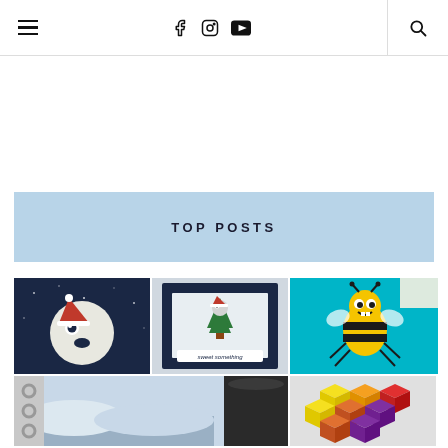Navigation header with hamburger menu, social icons (Facebook, Instagram, YouTube), and search icon
TOP POSTS
[Figure (photo): Greeting card with a moon character wearing a Santa hat on dark starry background]
[Figure (photo): Pop-up greeting card with a monster in Santa hat and Christmas tree, labeled 'SWEET something']
[Figure (photo): Yellow and black bee/bug monster character on cyan/turquoise background]
[Figure (photo): Binder rings with winter landscape photo and a dark cylindrical object]
[Figure (photo): Colorful geometric cube/hexagon pattern in yellow, orange, red, and purple on gray background]